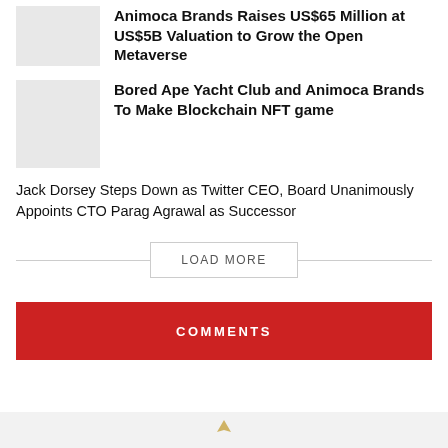Animoca Brands Raises US$65 Million at US$5B Valuation to Grow the Open Metaverse
Bored Ape Yacht Club and Animoca Brands To Make Blockchain NFT game
Jack Dorsey Steps Down as Twitter CEO, Board Unanimously Appoints CTO Parag Agrawal as Successor
LOAD MORE
COMMENTS